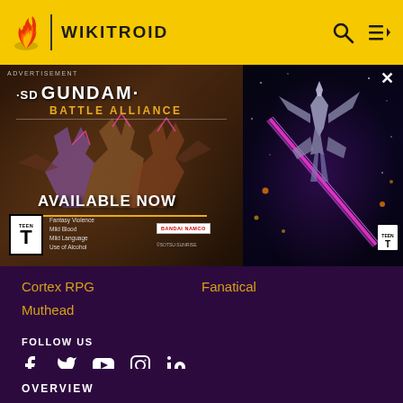WIKITROID
[Figure (screenshot): SD Gundam Battle Alliance advertisement banner showing Gundam mechs with text 'AVAILABLE NOW', ESRB Teen rating, and Bandai Namco branding]
Cortex RPG
Fanatical
Muthead
FOLLOW US
Social media icons: Facebook, Twitter, YouTube, Instagram, LinkedIn
OVERVIEW